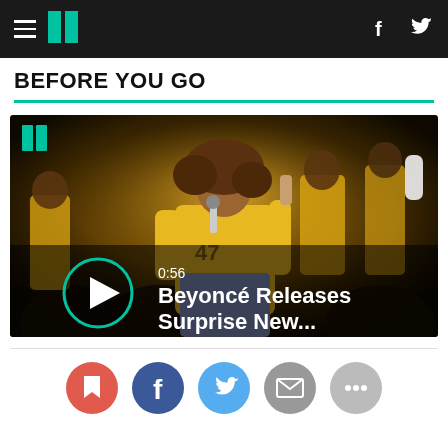HuffPost navigation bar with hamburger menu, logo, Facebook and Twitter icons
BEFORE YOU GO
[Figure (screenshot): Video thumbnail showing Beyoncé performing on stage wearing a yellow jacket, holding a microphone, surrounded by performers in yellow. Overlay shows play button circle with teal border, duration '0:56', and title 'Beyoncé Releases Surprise New...']
[Figure (other): Social share icons row: bookmark (red), Facebook (blue), Twitter (light blue), email (gray), comment (light gray)]